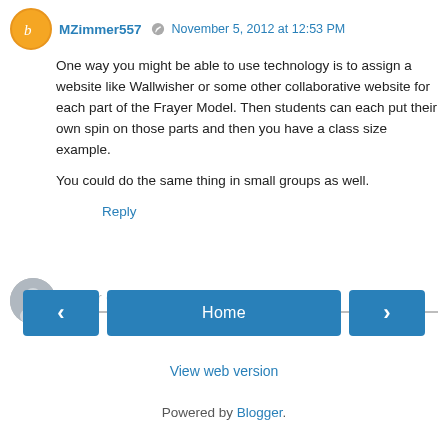MZimmer557 · November 5, 2012 at 12:53 PM
One way you might be able to use technology is to assign a website like Wallwisher or some other collaborative website for each part of the Frayer Model. Then students can each put their own spin on those parts and then you have a class size example.

You could do the same thing in small groups as well.
Reply
Enter Comment
Home
View web version
Powered by Blogger.